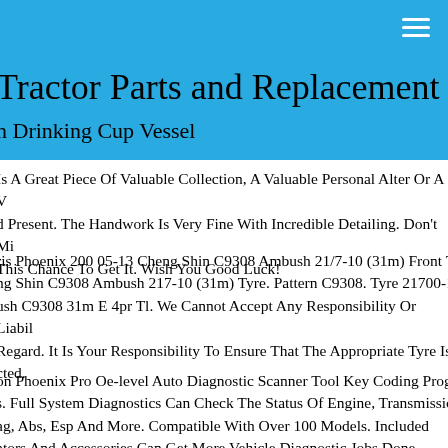Tractor Parts and Replacement
n Drinking Cup Vessel
Is A Great Piece Of Valuable Collection, A Valuable Personal Alter Or A V… d Present. The Handwork Is Very Fine With Incredible Detailing. Don't Mi… This Chance To Get It. Wish You Good Luck!
ris Phoenix 200 05-13 Cheng Shin C9308 Ambush 21/7-10 (31m) Front T… ng Shin C9308 Ambush 217-10 (31m) Tyre. Pattern C9308. Tyre 21700-1… ush C9308 31m E 4pr Tl. We Cannot Accept Any Responsibility Or Liabil… Regard. It Is Your Responsibility To Ensure That The Appropriate Tyre Is… cted.
on Phoenix Pro Oe-level Auto Diagnostic Scanner Tool Key Coding Prog… s. Full System Diagnostics Can Check The Status Of Engine, Transmissio… ag, Abs, Esp And More. Compatible With Over 100 Models. Included… ators And Accessories Can Get More Vehicle Diagnostic Jobs Done